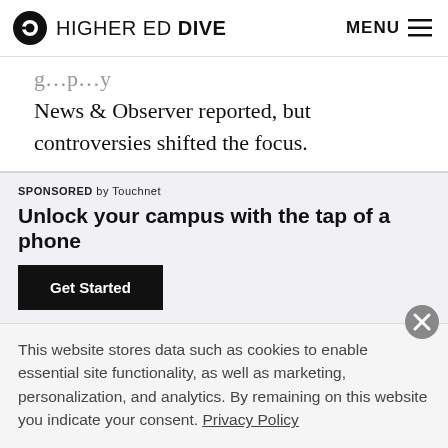HIGHER ED DIVE — MENU
g … p … y News & Observer reported, but controversies shifted the focus.
SPONSORED by Touchnet
Unlock your campus with the tap of a phone
Get Started
Dive Insight:
This website stores data such as cookies to enable essential site functionality, as well as marketing, personalization, and analytics. By remaining on this website you indicate your consent. Privacy Policy